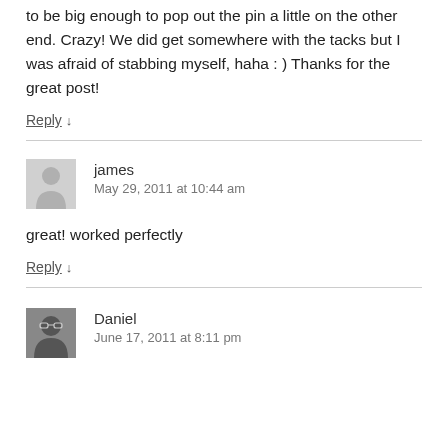to be big enough to pop out the pin a little on the other end. Crazy! We did get somewhere with the tacks but I was afraid of stabbing myself, haha : ) Thanks for the great post!
Reply ↓
james
May 29, 2011 at 10:44 am
great! worked perfectly
Reply ↓
Daniel
June 17, 2011 at 8:11 pm